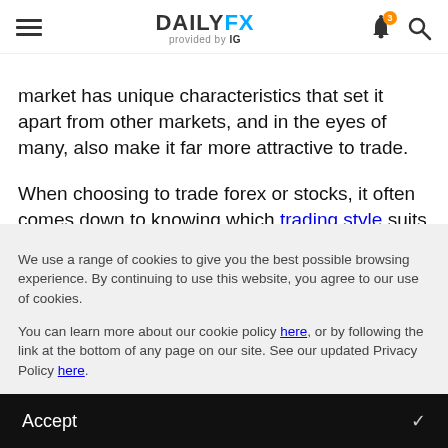DAILYFX provided by IG
market has unique characteristics that set it apart from other markets, and in the eyes of many, also make it far more attractive to trade.
When choosing to trade forex or stocks, it often comes down to knowing which trading style suits you best. But knowing the differences and similarities between the stock and forex market also enables traders to make informed trading decisions based on factors such as market conditions, liquidity and volume.
We use a range of cookies to give you the best possible browsing experience. By continuing to use this website, you agree to our use of cookies.
You can learn more about our cookie policy here, or by following the link at the bottom of any page on our site. See our updated Privacy Policy here.
Accept